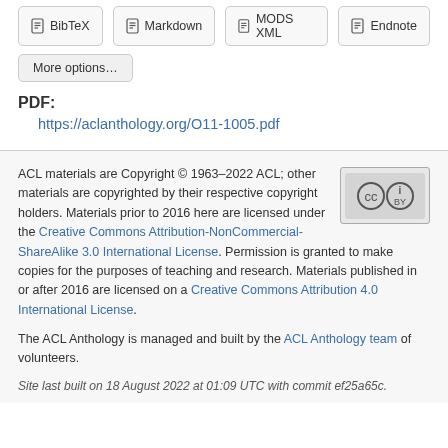BibTeX
Markdown
MODS XML
Endnote
More options…
PDF:
https://aclanthology.org/O11-1005.pdf
ACL materials are Copyright © 1963–2022 ACL; other materials are copyrighted by their respective copyright holders. Materials prior to 2016 here are licensed under the Creative Commons Attribution-NonCommercial-ShareAlike 3.0 International License. Permission is granted to make copies for the purposes of teaching and research. Materials published in or after 2016 are licensed on a Creative Commons Attribution 4.0 International License.
The ACL Anthology is managed and built by the ACL Anthology team of volunteers.
Site last built on 18 August 2022 at 01:09 UTC with commit ef25a65c.